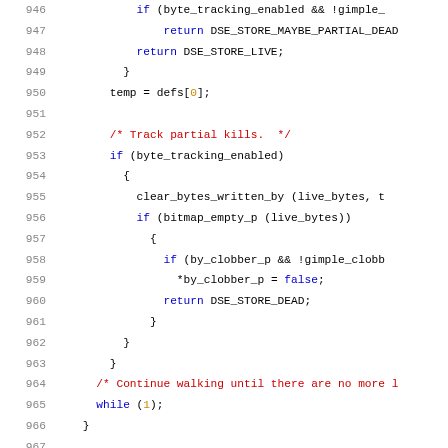[Figure (screenshot): Source code listing in C showing lines 946-967 of a compiler/static analysis function. Code uses syntax highlighting: blue for keywords, dark red for comments, black for identifiers, orange for numeric literals. Background is white. Lines cover dead store elimination logic including byte tracking, bitmap checks, and DSE_STORE return values.]